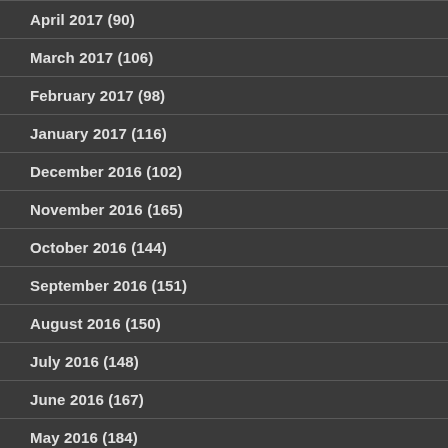April 2017 (90)
March 2017 (106)
February 2017 (98)
January 2017 (116)
December 2016 (102)
November 2016 (165)
October 2016 (144)
September 2016 (151)
August 2016 (150)
July 2016 (148)
June 2016 (167)
May 2016 (184)